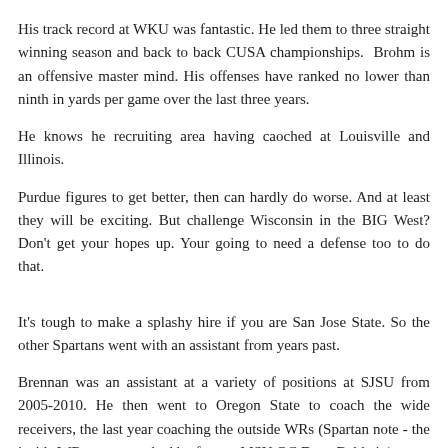His track record at WKU was fantastic. He led them to three straight winning season and back to back CUSA championships. Brohm is an offensive master mind. His offenses have ranked no lower than ninth in yards per game over the last three years.
He knows he recruiting area having caoched at Louisville and Illinois.
Purdue figures to get better, then can hardly do worse. And at least they will be exciting. But challenge Wisconsin in the BIG West? Don't get your hopes up. Your going to need a defense too to do that.
It's tough to make a splashy hire if you are San Jose State. So the other Spartans went with an assistant from years past.
Brennan was an assistant at a variety of positions at SJSU from 2005-2010. He then went to Oregon State to coach the wide receivers, the last year coaching the outside WRs (Spartan note - the inside WRs were coached by former MSU OC Dave Baldwin).